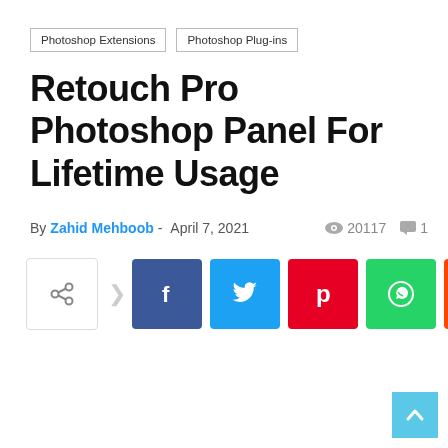Photoshop Extensions
Photoshop Plug-ins
Retouch Pro Photoshop Panel For Lifetime Usage
By Zahid Mehboob - April 7, 2021  👁 20117  💬 1
[Figure (infographic): Social share buttons row: share icon, Facebook, Twitter, Pinterest, WhatsApp, Reddit, Telegram, more (+)]